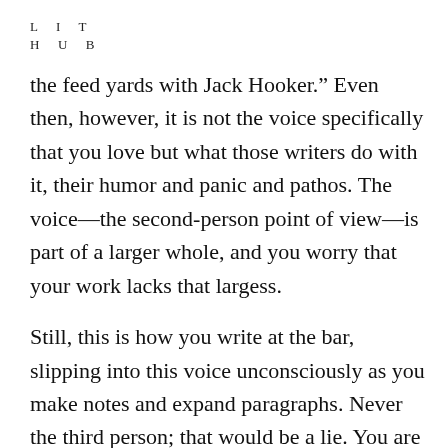L I T
H U B
the feed yards with Jack Hooker.” Even then, however, it is not the voice specifically that you love but what those writers do with it, their humor and panic and pathos. The voice—the second-person point of view—is part of a larger whole, and you worry that your work lacks that largess.
Still, this is how you write at the bar, slipping into this voice unconsciously as you make notes and expand paragraphs. Never the third person; that would be a lie. You are far too close for that, far more intimately acquainted (though